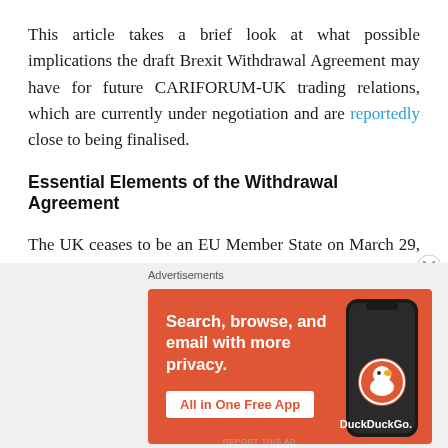This article takes a brief look at what possible implications the draft Brexit Withdrawal Agreement may have for future CARIFORUM-UK trading relations, which are currently under negotiation and are reportedly close to being finalised.
Essential Elements of the Withdrawal Agreement
The UK ceases to be an EU Member State on March 29, 2019. During the transition period (March 29, 2019 to
[Figure (screenshot): DuckDuckGo advertisement banner with orange background. Text reads 'Search, browse, and email with more privacy. All in One Free App' with a phone image and DuckDuckGo logo.]